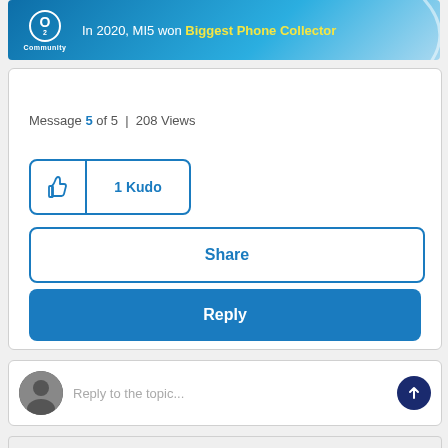[Figure (screenshot): O2 Community banner with text 'In 2020, MI5 won Biggest Phone Collector' with yellow highlighted text]
Message 5 of 5  |  208 Views
[Figure (other): 1 Kudo button with thumbs up icon]
[Figure (other): Share button]
[Figure (other): Reply button]
[Figure (other): Reply to the topic text input area with avatar and send button]